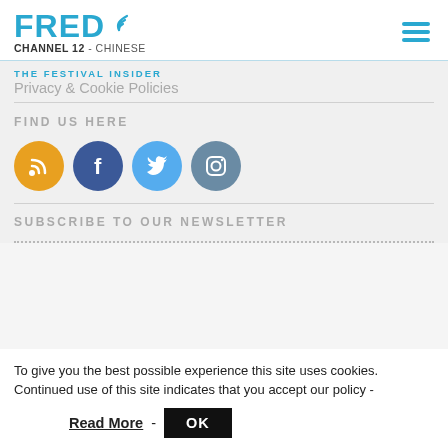FRED CHANNEL 12 - CHINESE
THE FESTIVAL INSIDER
Privacy & Cookie Policies
FIND US HERE
[Figure (infographic): Four social media icon circles: RSS (orange), Facebook (dark blue), Twitter (light blue), Instagram (slate blue)]
SUBSCRIBE TO OUR NEWSLETTER
To give you the best possible experience this site uses cookies. Continued use of this site indicates that you accept our policy - Read More - OK